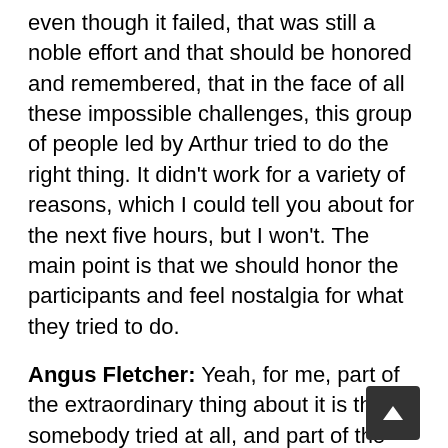even though it failed, that was still a noble effort and that should be honored and remembered, that in the face of all these impossible challenges, this group of people led by Arthur tried to do the right thing. It didn't work for a variety of reasons, which I could tell you about for the next five hours, but I won't. The main point is that we should honor the participants and feel nostalgia for what they tried to do.
Angus Fletcher: Yeah, for me, part of the extraordinary thing about it is that somebody tried at all, and part of the feeling that you get, and I suppose we all have this at times in our life, is that life is so overwhelming and so